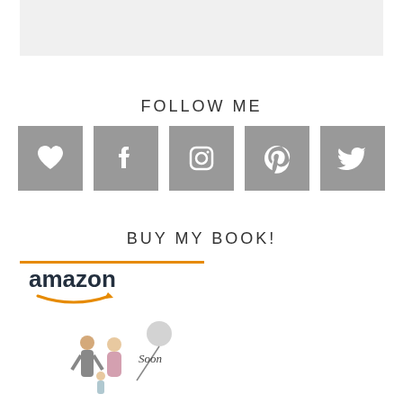[Figure (other): Light gray rectangular banner at top of page]
FOLLOW ME
[Figure (infographic): Five gray square social media icon buttons: heart/Bloglovin, Facebook, Instagram, Pinterest, Twitter]
BUY MY BOOK!
[Figure (logo): Amazon logo with orange line above and smile arrow below]
[Figure (illustration): Book cover illustration showing a couple and child with balloon, text 'Soon']